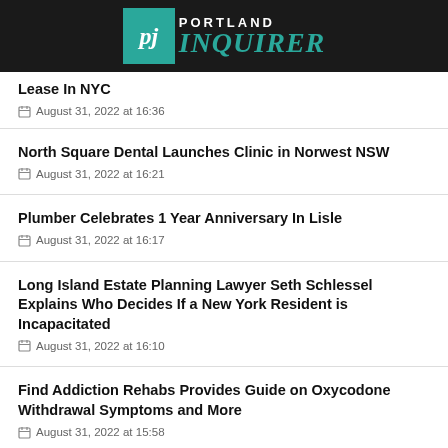[Figure (logo): Portland Inquirer newspaper logo with teal PJ icon and teal Inquirer text on dark background]
Lease In NYC
August 31, 2022 at 16:36
North Square Dental Launches Clinic in Norwest NSW
August 31, 2022 at 16:21
Plumber Celebrates 1 Year Anniversary In Lisle
August 31, 2022 at 16:17
Long Island Estate Planning Lawyer Seth Schlessel Explains Who Decides If a New York Resident is Incapacitated
August 31, 2022 at 16:10
Find Addiction Rehabs Provides Guide on Oxycodone Withdrawal Symptoms and More
August 31, 2022 at 15:58